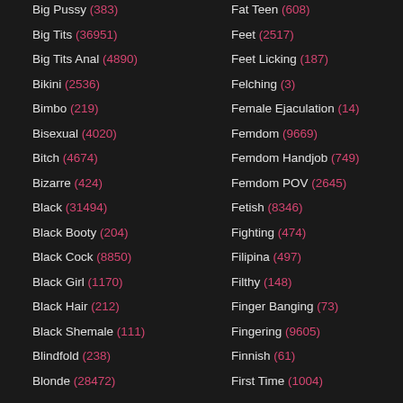Big Pussy (383)
Big Tits (36951)
Big Tits Anal (4890)
Bikini (2536)
Bimbo (219)
Bisexual (4020)
Bitch (4674)
Bizarre (424)
Black (31494)
Black Booty (204)
Black Cock (8850)
Black Girl (1170)
Black Hair (212)
Black Shemale (111)
Blindfold (238)
Blonde (28472)
Fat Teen (608)
Feet (2517)
Feet Licking (187)
Felching (3)
Female Ejaculation (14)
Femdom (9669)
Femdom Handjob (749)
Femdom POV (2645)
Fetish (8346)
Fighting (474)
Filipina (497)
Filthy (148)
Finger Banging (73)
Fingering (9605)
Finnish (61)
First Time (1004)